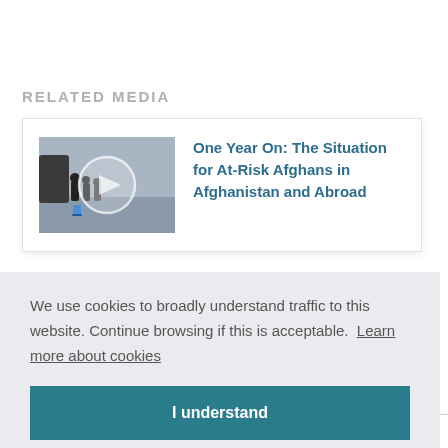RELATED MEDIA
[Figure (photo): Thumbnail photo of people at an airport with luggage, related to Afghan evacuation]
One Year On: The Situation for At-Risk Afghans in Afghanistan and Abroad
We use cookies to broadly understand traffic to this website. Continue browsing if this is acceptable.  Learn more about cookies
I understand
Browse by Region